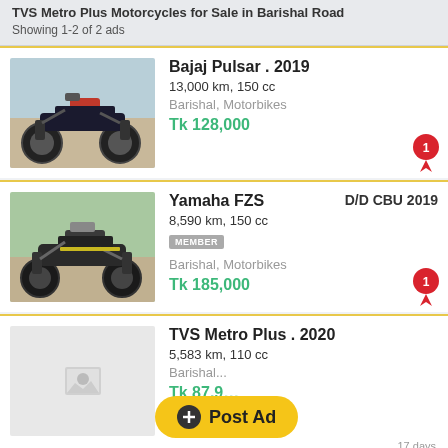TVS Metro Plus Motorcycles for Sale in Barishal Road — Showing 1-2 of 2 ads
[Figure (photo): Bajaj Pulsar motorcycle photo]
Bajaj Pulsar . 2019
13,000 km, 150 cc
Barishal, Motorbikes
Tk 128,000
[Figure (photo): Yamaha FZS motorcycle photo]
Yamaha FZS    D/D CBU 2019
8,590 km, 150 cc
MEMBER
Barishal, Motorbikes
Tk 185,000
[Figure (photo): TVS Metro Plus placeholder image]
TVS Metro Plus . 2020
5,583 km, 110 cc
Barishal...
Tk 87,9...
Post Ad
17 days